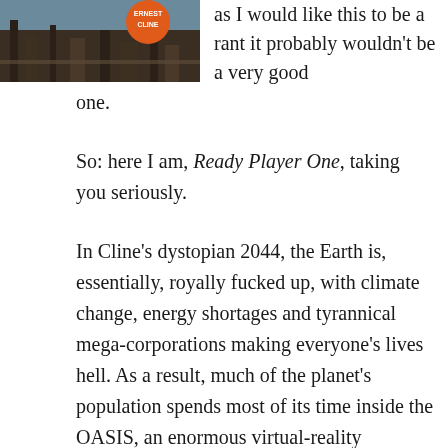[Figure (photo): Book cover of Ready Player One by Ernest Cline, showing a dystopian scene with an orange circular badge with the author's name]
as I would like this to be a rant it probably wouldn't be a very good one.
So: here I am, Ready Player One, taking you seriously.
In Cline's dystopian 2044, the Earth is, essentially, royally fucked up, with climate change, energy shortages and tyrannical mega-corporations making everyone's lives hell. As a result, much of the planet's population spends most of its time inside the OASIS, an enormous virtual-reality simulation created by Eccentric Genius James Halliday.
The novel opens with Halliday's death. In his Last Will and Testament, a video released to all major news